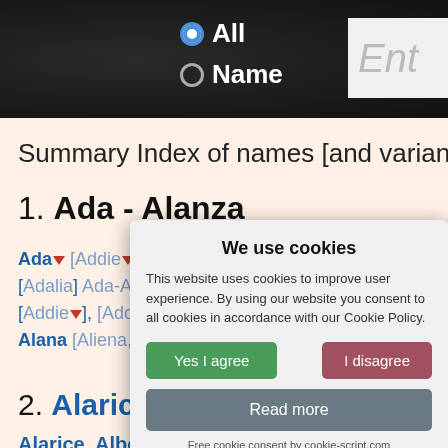All | Name | [search box]
Summary Index of names [and varian
1. Ada - Alanza
Ada▼ [Addie▼], Adalgisa, Ad [Adalia], [Ada-Aine], [Adino], Ade [Addie▼], [Adowina], Adimda, Aolpha Alana [Aliena, ...], Alann Alanz
2. Alarice - America
Alarice, Alberga, Albreda, Alda▼ [
We use cookies
This website uses cookies to improve user experience. By using our website you consent to all cookies in accordance with our Cookie Policy.
Yes I agree | I disagree
Read more
Free cookie consent by cookie-script.com